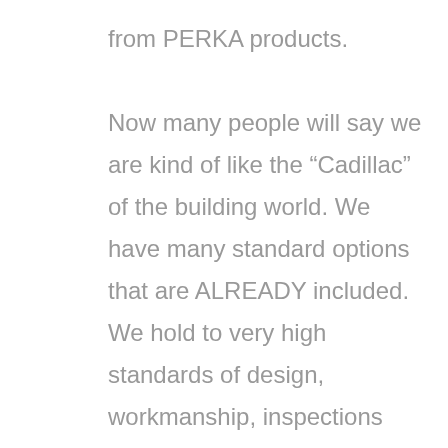from PERKA products.

Now many people will say we are kind of like the “Cadillac” of the building world. We have many standard options that are ALREADY included. We hold to very high standards of design, workmanship, inspections and accountability from start to finish. Of course all these virtues do add more time and attention to the product process and thus give it even more value.